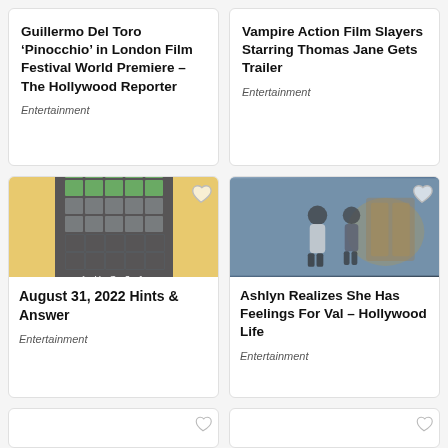Guillermo Del Toro ‘Pinocchio’ in London Film Festival World Premiere – The Hollywood Reporter
Entertainment
Vampire Action Film Slayers Starring Thomas Jane Gets Trailer
Entertainment
[Figure (illustration): Wordle-style puzzle grid on yellow background showing AUG 31 #438]
August 31, 2022 Hints & Answer
Entertainment
[Figure (photo): Two people standing in dim indoor scene with warm light in background]
Ashlyn Realizes She Has Feelings For Val – Hollywood Life
Entertainment